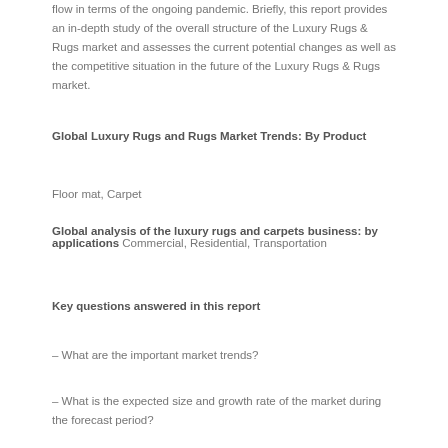flow in terms of the ongoing pandemic. Briefly, this report provides an in-depth study of the overall structure of the Luxury Rugs & Rugs market and assesses the current potential changes as well as the competitive situation in the future of the Luxury Rugs & Rugs market.
Global Luxury Rugs and Rugs Market Trends: By Product
Floor mat, Carpet
Global analysis of the luxury rugs and carpets business: by applications
Commercial, Residential, Transportation
Key questions answered in this report
– What are the important market trends?
– What is the expected size and growth rate of the market during the forecast period?